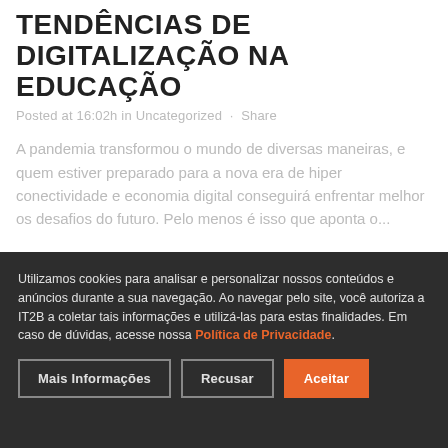TENDÊNCIAS DE DIGITALIZAÇÃO NA EDUCAÇÃO
Posted at 16:02h in Uncategorized · Share
A pandemia transformou o mundo de diversas maneiras, e quem estiver preparado para a nova era de hiper conectividade e economia digital conseguirá enfrentar melhor os desafios do futuro. Pelo menos é isso que aponta o...
Utilizamos cookies para analisar e personalizar nossos conteúdos e anúncios durante a sua navegação. Ao navegar pelo site, você autoriza a IT2B a coletar tais informações e utilizá-las para estas finalidades. Em caso de dúvidas, acesse nossa Política de Privacidade.